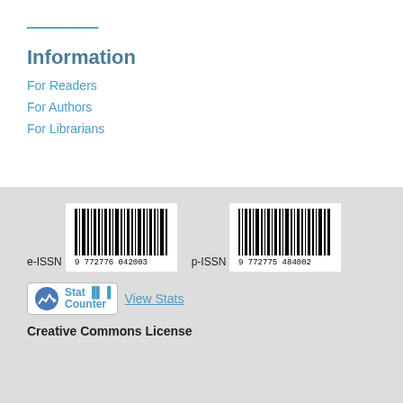Information
For Readers
For Authors
For Librarians
[Figure (other): e-ISSN barcode with number 9 772776 042003]
[Figure (other): p-ISSN barcode with number 9 772775 484002]
[Figure (logo): StatCounter logo badge with View Stats link]
Creative Commons License